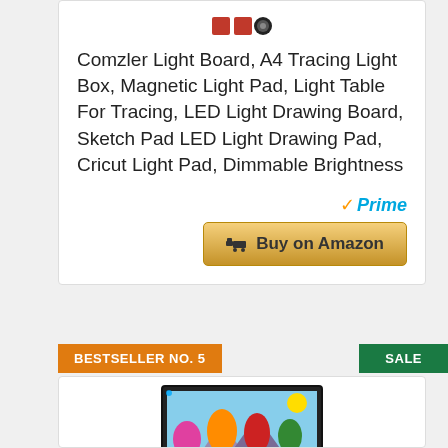[Figure (other): Product icons shown at top of product card (red squares and circular icon)]
Comzler Light Board, A4 Tracing Light Box, Magnetic Light Pad, Light Table For Tracing, LED Light Drawing Board, Sketch Pad LED Light Drawing Pad, Cricut Light Pad, Dimmable Brightness
[Figure (logo): Amazon Prime badge with checkmark and italic Prime text in blue]
[Figure (other): Buy on Amazon button with shopping cart icon, gold gradient background]
BESTSELLER NO. 5
SALE
[Figure (photo): Product image showing a light drawing pad/tablet with colorful tree artwork drawn on it, person's hand holding a stylus]